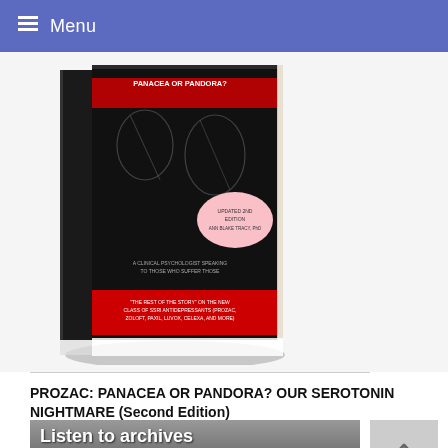Menu
[Figure (photo): Book cover of 'Prozac: Panacea or Pandora? Our Serotonin Nightmare, Second Edition' by Ann Blake Tracy PhD. Black cover with line drawings of faces and a red banner at the bottom.]
PROZAC: PANACEA OR PANDORA? OUR SEROTONIN NIGHTMARE (Second Edition)
[Figure (photo): Banner image with text 'Listen to archives' and subtitle 'download Mp3s and more. Sign up now.' on a dark grey textured background.]